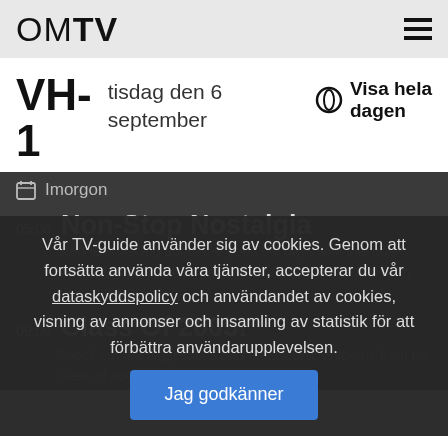OMTV
VH-1
tisdag den 6 september
Visa hela dagen
Imorgon
05:00 Non-Stop Nostalgia
Start reminiscing about the good old days with this non-interrupted play of hits, with full of your favourite hits from back in the day.
09:00 Class Of 2005!
Check out the biggest hits and most iconic anthems from the Class of 2005!
Vår TV-guide använder sig av cookies. Genom att fortsätta använda våra tjänster, accepterar du vår dataskyddspolicy och användandet av cookies, visning av annonser och insamling av statistik för att förbättra användarupplevelsen.